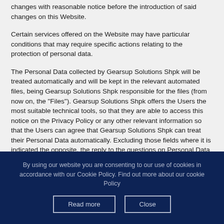circumstances, Gearsup Solutions Shpk will publish such changes with reasonable notice before the introduction of said changes on this Website.
Certain services offered on the Website may have particular conditions that may require specific actions relating to the protection of personal data.
The Personal Data collected by Gearsup Solutions Shpk will be treated automatically and will be kept in the relevant automated files, being Gearsup Solutions Shpk responsible for the files (from now on, the "Files"). Gearsup Solutions Shpk offers the Users the most suitable technical tools, so that they are able to access this notice on the Privacy Policy or any other relevant information so that the Users can agree that Gearsup Solutions Shpk can treat their Personal Data automatically. Excluding those fields where it is indicated the opposite, the reply to the questions on Personal Data are
By using our website you are consenting to our use of cookies in accordance with our Cookie Policy. Find out more about our cookie Policy
Read more
Close